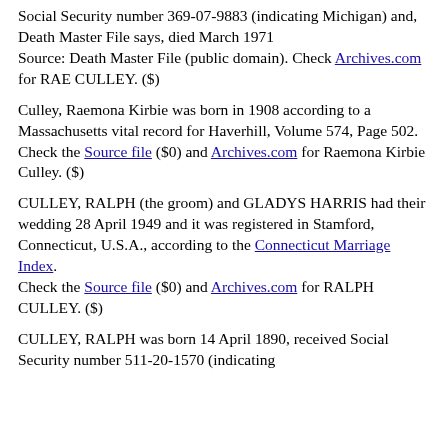Social Security number 369-07-9883 (indicating Michigan) and, Death Master File says, died March 1971
Source: Death Master File (public domain). Check Archives.com for RAE CULLEY. ($)
Culley, Raemona Kirbie was born in 1908 according to a Massachusetts vital record for Haverhill, Volume 574, Page 502.
Check the Source file ($0) and Archives.com for Raemona Kirbie Culley. ($)
CULLEY, RALPH (the groom) and GLADYS HARRIS had their wedding 28 April 1949 and it was registered in Stamford, Connecticut, U.S.A., according to the Connecticut Marriage Index.
Check the Source file ($0) and Archives.com for RALPH CULLEY. ($)
CULLEY, RALPH was born 14 April 1890, received Social Security number 511-20-1570 (indicating